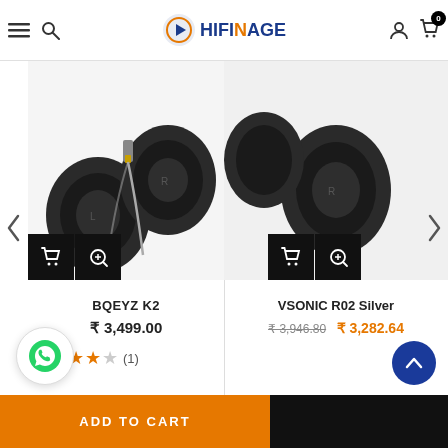HIFINAGE - The Auditory Sensation
[Figure (photo): BQEYZ K2 in-ear monitors (earphones), dark gray/black, shown as a pair with braided cable and gold-plated connector]
BQEYZ K2
₹ 3,499.00
★★★★☆ (1)
[Figure (photo): VSONIC R02 Silver earphones product image area (partially visible, right side of carousel)]
VSONIC R02 Silver
₹ 3,946.80  ₹ 3,282.64
ADD TO CART